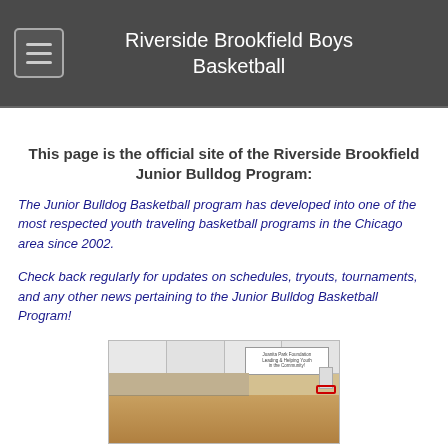Riverside Brookfield Boys Basketball
This page is the official site of the Riverside Brookfield Junior Bulldog Program:
The Junior Bulldog Basketball program has developed into one of the most respected youth traveling basketball programs in the Chicago area since 2002.
Check back regularly for updates on schedules, tryouts, tournaments, and any other news pertaining to the Junior Bulldog Basketball Program!
[Figure (photo): Interior of a gymnasium with ceiling panels, a banner on the wall, bleachers, and a basketball hoop visible in the background. People appear at the bottom of the image.]